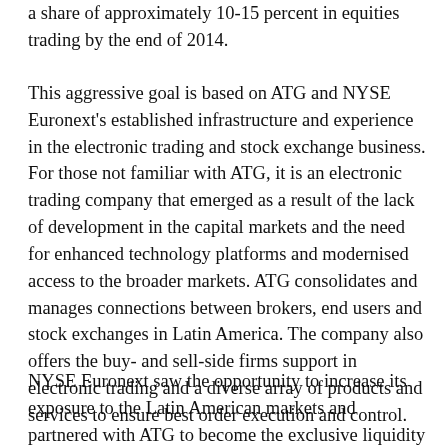a share of approximately 10-15 percent in equities trading by the end of 2014.
This aggressive goal is based on ATG and NYSE Euronext's established infrastructure and experience in the electronic trading and stock exchange business. For those not familiar with ATG, it is an electronic trading company that emerged as a result of the lack of development in the capital markets and the need for enhanced technology platforms and modernised access to the broader markets. ATG consolidates and manages connections between brokers, end users and stock exchanges in Latin America. The company also offers the buy- and sell-side firms support in electronic trading and a diverse array of products and services to ensure best order execution and control.
NYSE Euronext saw the opportunity to increase its exposure to the Latin American markets and partnered with ATG to become the exclusive liquidity hub in the